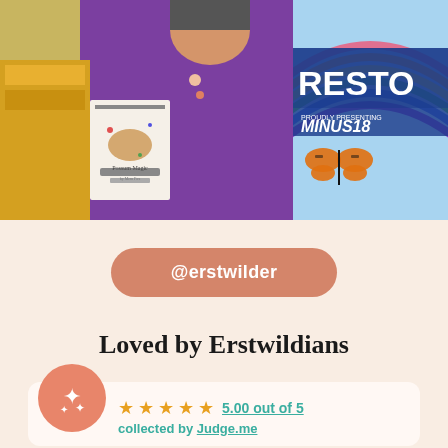[Figure (photo): Person in purple sweater holding a 'Possum Magic' book at what appears to be a market stall]
[Figure (photo): Partial view of a sign reading 'RESTO' with a rainbow and butterfly, branded Minus18]
@erstwilder
Loved by Erstwildians
[Figure (other): Review card with sparkle icon, 5 star rating showing 5.00 out of 5, collected by Judge.me]